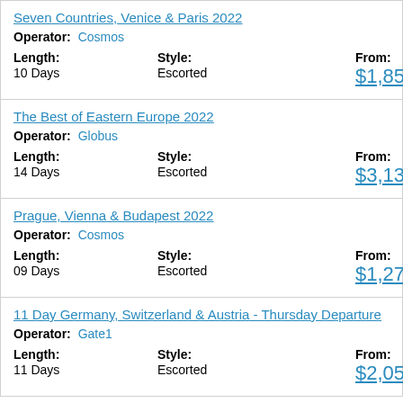| Seven Countries, Venice & Paris 2022 | Cosmos | 10 Days | Escorted | $1,859 |
| The Best of Eastern Europe 2022 | Globus | 14 Days | Escorted | $3,139 |
| Prague, Vienna & Budapest 2022 | Cosmos | 09 Days | Escorted | $1,279 |
| 11 Day Germany, Switzerland & Austria - Thursday Departure | Gate1 | 11 Days | Escorted | $2,059 |